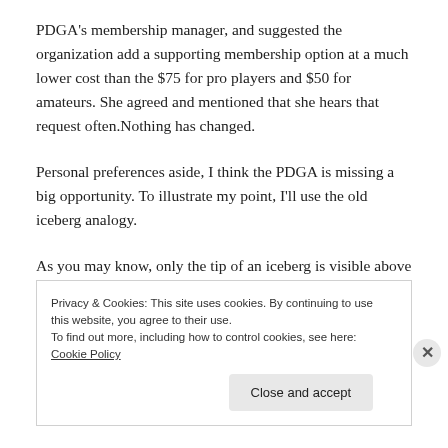PDGA's membership manager, and suggested the organization add a supporting membership option at a much lower cost than the $75 for pro players and $50 for amateurs. She agreed and mentioned that she hears that request often.Nothing has changed.
Personal preferences aside, I think the PDGA is missing a big opportunity. To illustrate my point, I'll use the old iceberg analogy.
As you may know, only the tip of an iceberg is visible above the surface of the water, and similarly, only a small
Privacy & Cookies: This site uses cookies. By continuing to use this website, you agree to their use.
To find out more, including how to control cookies, see here: Cookie Policy
Close and accept